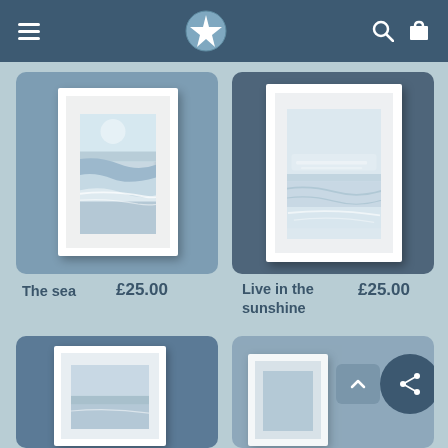Navigation bar with hamburger menu, starfish logo, search and cart icons
[Figure (photo): Framed ocean wave print titled 'The sea' on blue-grey background]
The sea  £25.00
[Figure (photo): Framed coastal/beach print titled 'Live in the sunshine' on dark blue-grey background]
Live in the sunshine  £25.00
[Figure (photo): Partially visible framed nautical/seascape print on blue background]
[Figure (screenshot): Share, scroll-up, and email action buttons overlay on blue background]